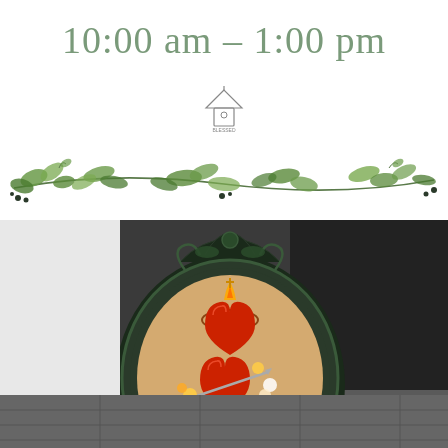10:00 am – 1:00 pm
[Figure (logo): Small logo icon resembling a birdhouse or lantern with text 'BLESSED' and decorative elements]
[Figure (illustration): Decorative floral garland with green leaves and branches spanning the width of the section]
[Figure (photo): Photo of an ornate dark green oval baroque frame containing a painting of two Sacred Hearts (Catholic devotional imagery) with flames, crown of thorns, and floral decorations, displayed on a dark background]